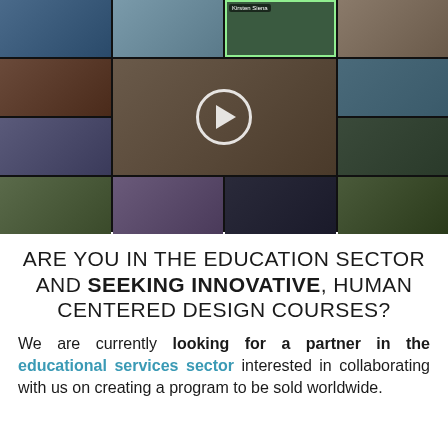[Figure (photo): Video call screenshot showing a grid of approximately 13-14 participants in a virtual meeting, with a play button overlay in the center. One participant (Kirsten Siena) is highlighted with a green border in the top row.]
ARE YOU IN THE EDUCATION SECTOR AND SEEKING INNOVATIVE, HUMAN CENTERED DESIGN COURSES?
We are currently looking for a partner in the educational services sector interested in collaborating with us on creating a program to be sold worldwide.